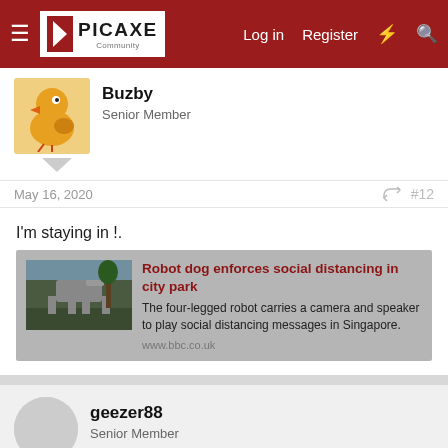PICAXE Community — Log in | Register
Buzby
Senior Member
May 16, 2020   #12
I'm staying in !.
[Figure (screenshot): Link preview card: Robot dog enforces social distancing in city park — The four-legged robot carries a camera and speaker to play social distancing messages in Singapore. www.bbc.co.uk]
geezer88
Senior Member
May 16, 2020   #13